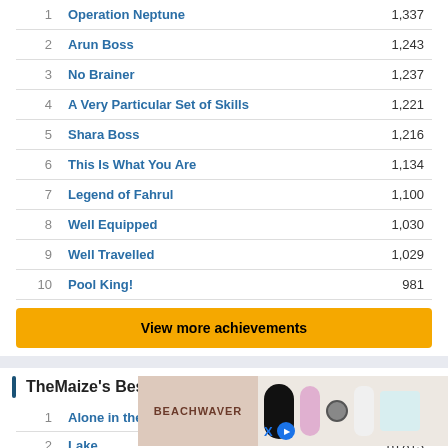| # | Name | Score |
| --- | --- | --- |
| 1 | Operation Neptune | 1,337 |
| 2 | Arun Boss | 1,243 |
| 3 | No Brainer | 1,237 |
| 4 | A Very Particular Set of Skills | 1,221 |
| 5 | Shara Boss | 1,216 |
| 6 | This Is What You Are | 1,134 |
| 7 | Legend of Fahrul | 1,100 |
| 8 | Well Equipped | 1,030 |
| 9 | Well Travelled | 1,029 |
| 10 | Pool King! | 981 |
View more achievements
TheMaize's Best Challenges
| # | Name | Score |
| --- | --- | --- |
| 1 | Alone in the Forest | 19.697 |
| 2 | Lake... | 16.813 |
| 3 | EXT... | 14.584 |
[Figure (other): Advertisement overlay for Beachwaver with product images]